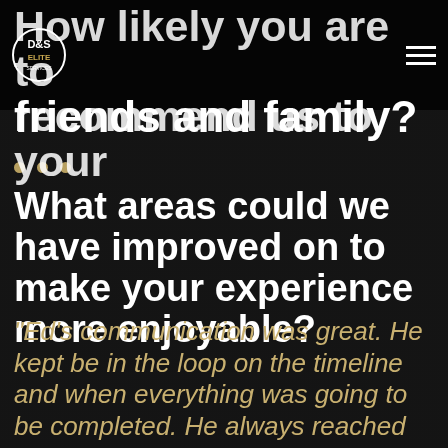How likely you are to recommend us to your friends and family?
What areas could we have improved on to make your experience more enjoyable?
"Ed's communication was great. He kept be in the loop on the timeline and when everything was going to be completed. He always reached out to ensure the job was completed as planned."